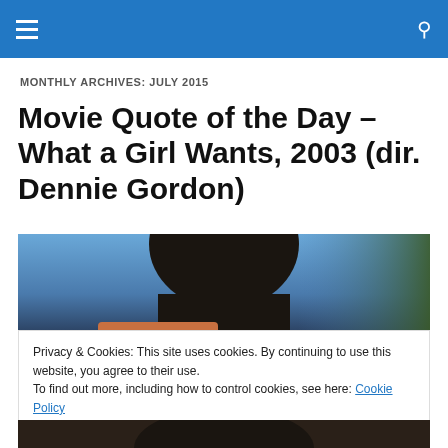MONTHLY ARCHIVES: JULY 2015
Movie Quote of the Day – What a Girl Wants, 2003 (dir. Dennie Gordon)
[Figure (photo): Photo showing the back of a person's head with dark hair, against a blue sky and green foliage background]
Privacy & Cookies: This site uses cookies. By continuing to use this website, you agree to their use.
To find out more, including how to control cookies, see here: Cookie Policy
Close and accept
[Figure (photo): Partial photo at the bottom of the page, showing dark tones]